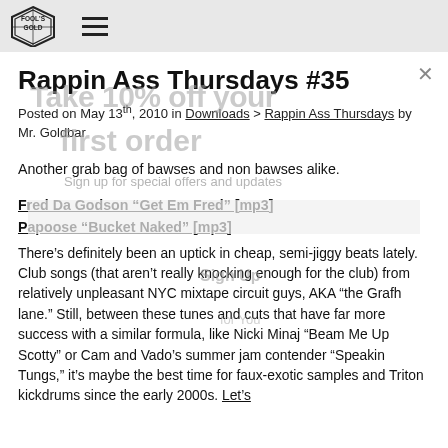[Figure (logo): Fool's Gold Records logo - diamond/gem shape with text FOOL'S GOLD inside]
Rappin Ass Thursdays #35
Posted on May 13th, 2010 in Downloads > Rappin Ass Thursdays by Mr. Goldbar
Another grab bag of bawses and non bawses alike.
Fred Da Godson “Get Em Fred” [mp3]
Papoose “Bucket Naked” [mp3]
There’s definitely been an uptick in cheap, semi-jiggy beats lately. Club songs (that aren’t really knocking enough for the club) from relatively unpleasant NYC mixtape circuit guys, AKA “the Grafh lane.” Still, between these tunes and cuts that have far more success with a similar formula, like Nicki Minaj “Beam Me Up Scotty” or Cam and Vado’s summer jam contender “Speakin Tungs,” it’s maybe the best time for faux-exotic samples and Triton kickdrums since the early 2000s. Let’s